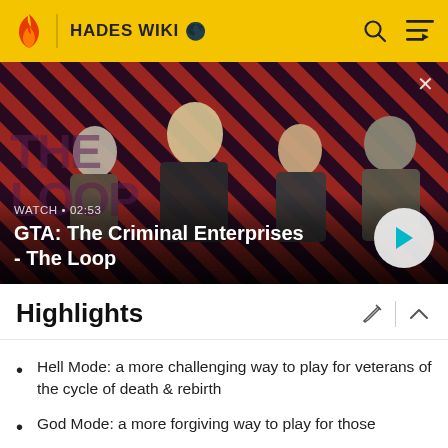HADES WIKI
[Figure (screenshot): Video thumbnail for 'GTA: The Criminal Enterprises - The Loop' showing four game characters on a red diagonal-striped background, with watch label 'WATCH • 02:53' and a circular play button.]
Highlights
Hell Mode: a more challenging way to play for veterans of the cycle of death & rebirth
God Mode: a more forgiving way to play for those